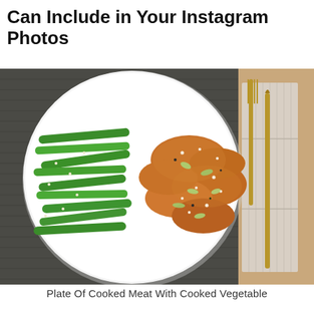Can Include in Your Instagram Photos
[Figure (photo): Overhead shot of a white plate containing cooked meat pieces in a savory sauce with sesame seeds and sliced green onions, alongside bright green cooked green beans, placed on a dark woven placemat next to a folded linen napkin with a gold fork and knife.]
Plate Of Cooked Meat With Cooked Vegetable